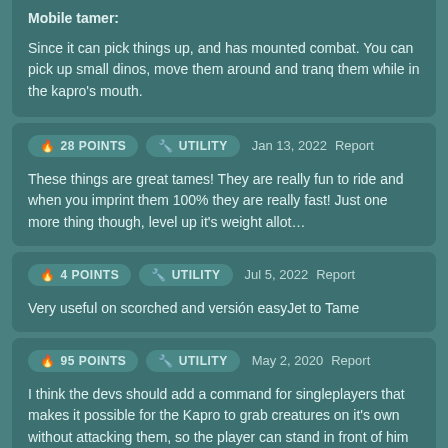Mobile tamer:

Since it can pick things up, and has mounted combat. You can pick up small dinos, move them around and tranq them while in the kapro's mouth.
28 POINTS   UTILITY   Jan 13, 2022   Report

These things are great tames! They are really fun to ride and when you imprint them 100% they are really fast! Just one more thing though, level up it's weight allot…
4 POINTS   UTILITY   Jul 5, 2022   Report

Very useful on scorched and versión easyJet to Tame
95 POINTS   UTILITY   May 2, 2020   Report

I think the devs should add a command for singleplayers that makes it possible for the Kapro to grab creatures on it's own without attacking them, so the player can stand in front of him to knock the dinosaur out